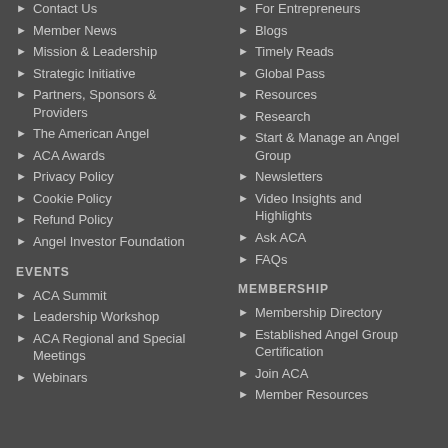Contact Us
Member News
Mission & Leadership
Strategic Initiative
Partners, Sponsors & Providers
The American Angel
ACA Awards
Privacy Policy
Cookie Policy
Refund Policy
Angel Investor Foundation
For Entrepreneurs
Blogs
Timely Reads
Global Pass
Resources
Research
Start & Manage an Angel Group
Newsletters
Video Insights and Highlights
Ask ACA
FAQs
EVENTS
ACA Summit
Leadership Workshop
ACA Regional and Special Meetings
Webinars
MEMBERSHIP
Membership Directory
Established Angel Group Certification
Join ACA
Member Resources